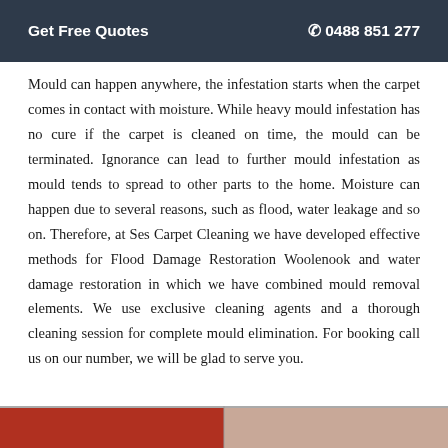Get Free Quotes   ☎ 0488 851 277
Mould can happen anywhere, the infestation starts when the carpet comes in contact with moisture. While heavy mould infestation has no cure if the carpet is cleaned on time, the mould can be terminated. Ignorance can lead to further mould infestation as mould tends to spread to other parts to the home. Moisture can happen due to several reasons, such as flood, water leakage and so on. Therefore, at Ses Carpet Cleaning we have developed effective methods for Flood Damage Restoration Woolenook and water damage restoration in which we have combined mould removal elements. We use exclusive cleaning agents and a thorough cleaning session for complete mould elimination. For booking call us on our number, we will be glad to serve you.
[Figure (photo): Bottom strip showing a partial image, appears to show carpet or flooring with red and tan/beige tones.]